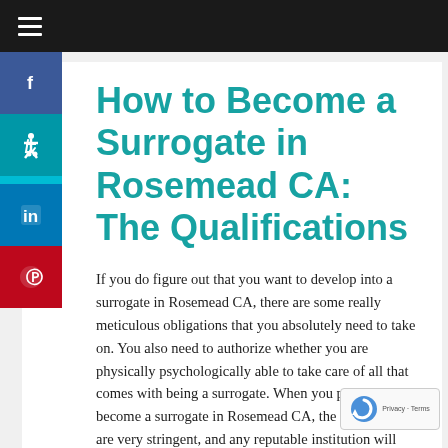How to Become a Surrogate in Rosemead CA: The Qualifications
If you do figure out that you want to develop into a surrogate in Rosemead CA, there are some really meticulous obligations that you absolutely need to take on. You also need to authorize whether you are physically psychologically able to take care of all that comes with being a surrogate. When you petition to become a surrogate in Rosemead CA, the certification are very stringent, and any reputable institution will